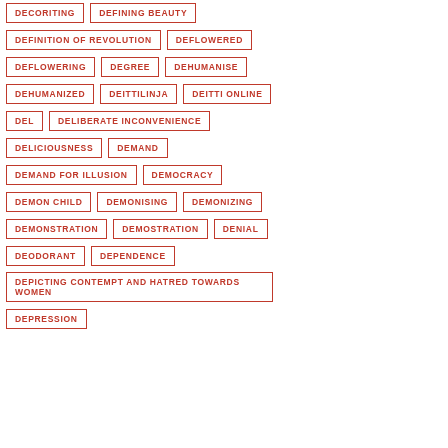DECORITING
DEFINING BEAUTY
DEFINITION OF REVOLUTION
DEFLOWERED
DEFLOWERING
DEGREE
DEHUMANISE
DEHUMANIZED
DEITTILINJA
DEITTI ONLINE
DEL
DELIBERATE INCONVENIENCE
DELICIOUSNESS
DEMAND
DEMAND FOR ILLUSION
DEMOCRACY
DEMON CHILD
DEMONISING
DEMONIZING
DEMONSTRATION
DEMOSTRATION
DENIAL
DEODORANT
DEPENDENCE
DEPICTING CONTEMPT AND HATRED TOWARDS WOMEN
DEPRESSION